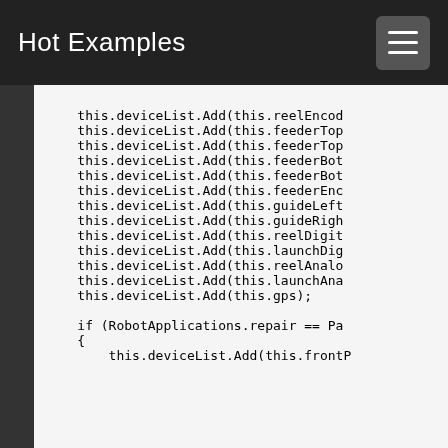Hot Examples
this.deviceList.Add(this.reelEncod
this.deviceList.Add(this.feederTop
this.deviceList.Add(this.feederTop
this.deviceList.Add(this.feederBot
this.deviceList.Add(this.feederBot
this.deviceList.Add(this.feederEnc
this.deviceList.Add(this.guideLeft
this.deviceList.Add(this.guideRigh
this.deviceList.Add(this.reelDigit
this.deviceList.Add(this.launchDig
this.deviceList.Add(this.reelAnalo
this.deviceList.Add(this.launchAna
this.deviceList.Add(this.gps);

if (RobotApplications.repair == Pa
{
    this.deviceList.Add(this.frontP